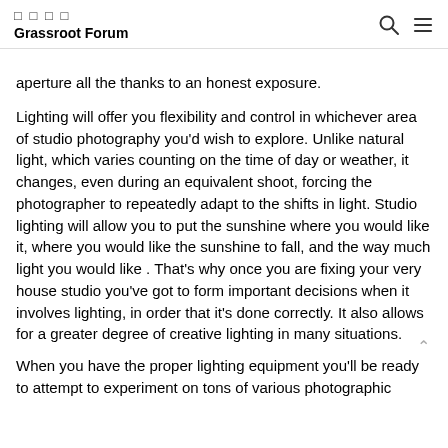□ □ □ □
Grassroot Forum
aperture all the thanks to an honest exposure.
Lighting will offer you flexibility and control in whichever area of studio photography you'd wish to explore. Unlike natural light, which varies counting on the time of day or weather, it changes, even during an equivalent shoot, forcing the photographer to repeatedly adapt to the shifts in light. Studio lighting will allow you to put the sunshine where you would like it, where you would like the sunshine to fall, and the way much light you would like . That's why once you are fixing your very house studio you've got to form important decisions when it involves lighting, in order that it's done correctly. It also allows for a greater degree of creative lighting in many situations.
When you have the proper lighting equipment you'll be ready to attempt to experiment on tons of various photographic